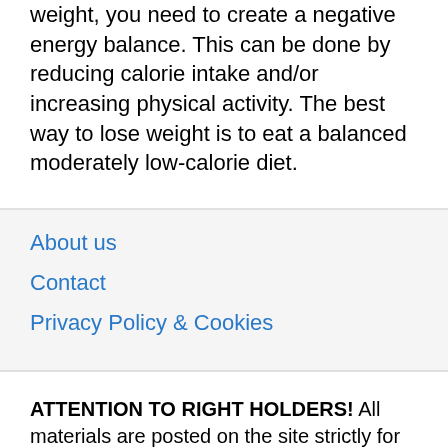weight, you need to create a negative energy balance. This can be done by reducing calorie intake and/or increasing physical activity. The best way to lose weight is to eat a balanced moderately low-calorie diet.
About us
Contact
Privacy Policy & Cookies
ATTENTION TO RIGHT HOLDERS! All materials are posted on the site strictly for informational and educational purposes! If you believe that the posting of any material